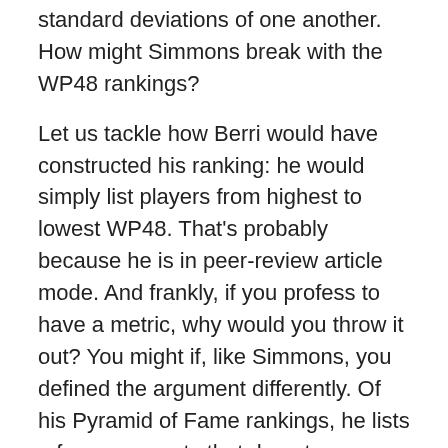standard deviations of one another. How might Simmons break with the WP48 rankings?
Let us tackle how Berri would have constructed his ranking: he would simply list players from highest to lowest WP48. That's probably because he is in peer-review article mode. And frankly, if you profess to have a metric, why would you throw it out? You might if, like Simmons, you defined the argument differently. Of his Pyramid of Fame rankings, he lists a few arguments that do not encompass basketball productivity. Again, the idea of historical relevance, player/coach testimony, and the style and flair of the players enter into Simmons's arguments. So all things being equal, and if the difference in rankings by metric is slight, there really is no reason against weighing the statistics more than any other attribute. Heck, even if the metric differences are large, it wouldn't matter.